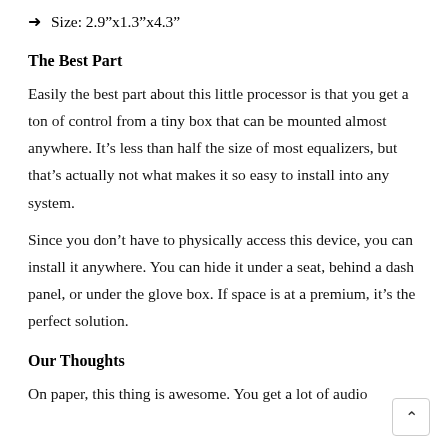→ Size: 2.9"x1.3"x4.3"
The Best Part
Easily the best part about this little processor is that you get a ton of control from a tiny box that can be mounted almost anywhere. It’s less than half the size of most equalizers, but that’s actually not what makes it so easy to install into any system.
Since you don’t have to physically access this device, you can install it anywhere. You can hide it under a seat, behind a dash panel, or under the glove box. If space is at a premium, it’s the perfect solution.
Our Thoughts
On paper, this thing is awesome. You get a lot of audio